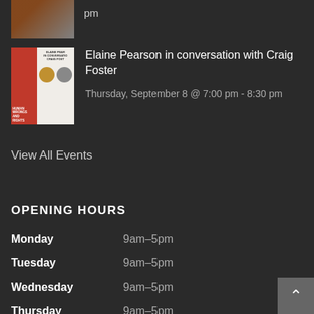pm
[Figure (photo): Partial event thumbnail image at top, cropped]
Elaine Pearson in conversation with Craig Foster
Thursday, September 8 @ 7:00 pm - 8:30 pm
[Figure (photo): Book cover thumbnail showing Elaine Pearson in Conversation with Craig Foster, with red book spine and two circular author portraits]
View All Events
OPENING HOURS
| Day | Hours |
| --- | --- |
| Monday | 9am–5pm |
| Tuesday | 9am–5pm |
| Wednesday | 9am–5pm |
| Thursday | 9am–5pm |
| Friday | 9am–5pm |